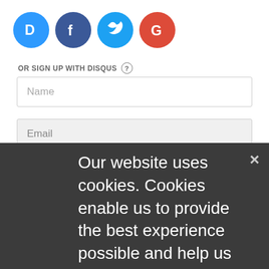[Figure (logo): Four social login icons: Disqus (blue D), Facebook (dark blue f), Twitter (light blue bird), Google (red G)]
OR SIGN UP WITH DISQUS ?
Name
Email
Password
Please accept our Privacy Policy to learn what personal data Disqus collects and your choices about how it is used. All users of our service are also subject to our Terms of Service.
I'd rather post as a guest
[Figure (screenshot): Cookie consent overlay with text: Our website uses cookies. Cookies enable us to provide the best experience possible and help us understand how visitors use our website. By browsing databreachtoday.eu, you agree to our use of cookies. Close button (x) in top right.]
Be the first to comment.